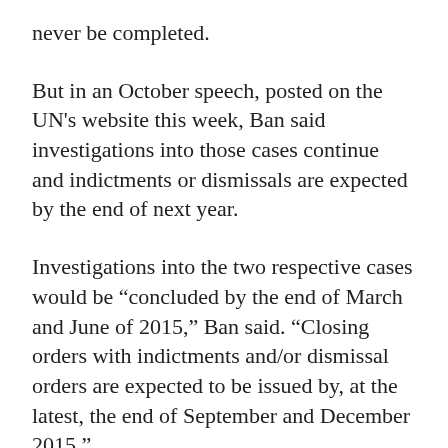never be completed.
But in an October speech, posted on the UN's website this week, Ban said investigations into those cases continue and indictments or dismissals are expected by the end of next year.
Investigations into the two respective cases would be “concluded by the end of March and June of 2015,” Ban said. “Closing orders with indictments and/or dismissal orders are expected to be issued by, at the latest, the end of September and December 2015.”
The tribunal’s international investigating judge is examining more than 10 crime sites for Case 003 and some 55 crime scenarios for Case 004, and has already interviewed more than 300 witnesses and undertaken more than 80 field missions, Ban said.